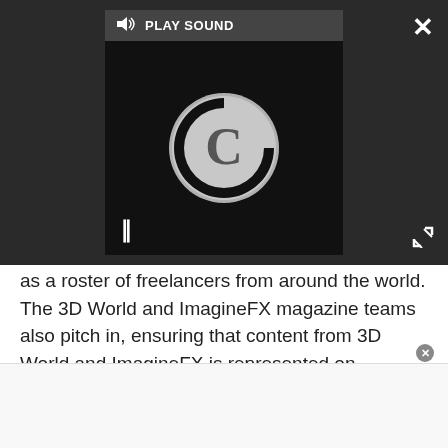[Figure (screenshot): Video player overlay showing a loading/buffering state. Dark background with a 'PLAY SOUND' bar at top, a large circular loading spinner with a 'C' shape in grey on black background, a pause (II) icon at bottom-left. An X close button at top-right and an expand/fullscreen icon at bottom-right of the overlay.]
as a roster of freelancers from around the world. The 3D World and ImagineFX magazine teams also pitch in, ensuring that content from 3D World and ImagineFX is represented on Creative Bloq.
TOPICS
ANIMATION
VIDEO PRODUCTION